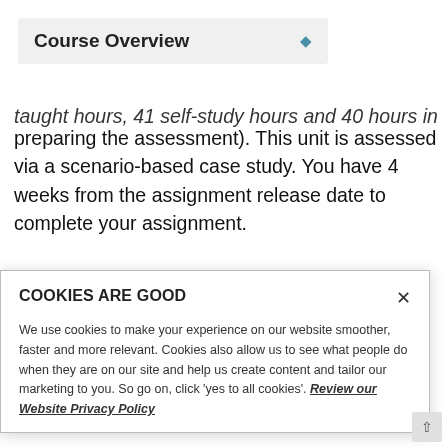Course Overview
taught hours, 41 self-study hours and 40 hours in preparing the assessment). This unit is assessed via a scenario-based case study. You have 4 weeks from the assignment release date to complete your assignment.
[Figure (logo): Dark blue spiky sunburst / starburst logo with dots in the center, resembling an institutional or educational organization logo]
COOKIES ARE GOOD
We use cookies to make your experience on our website smoother, faster and more relevant. Cookies also allow us to see what people do when they are on our site and help us create content and tailor our marketing to you. So go on, click 'yes to all cookies'. Review our Website Privacy Policy